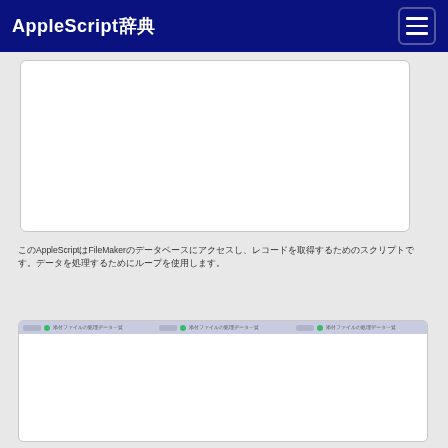AppleScript辞典
[Figure (screenshot): White screenshot/content box area (top portion, mostly blank white)]
このAppleScriptはFileMakerのデータベースにアクセスし、レコードを取得するためのスクリプトです。データを処理するためにループを使用します。
[Figure (screenshot): Finder windows screenshot showing three side-by-side Finder panes each with a green dot and label '添付ファイルの処理データ一覧']